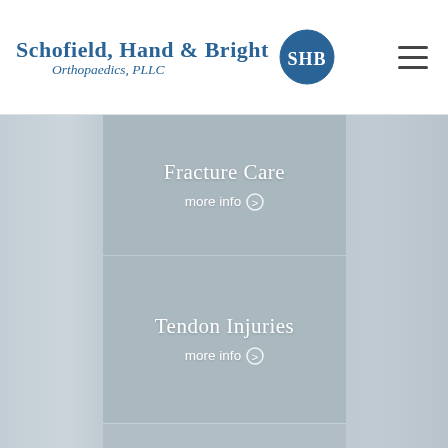Schofield, Hand & Bright Orthopaedics, PLLC
[Figure (photo): Medical professional hands holding a anatomical bone/joint model, used as background imagery for orthopaedic services page]
Fracture Care
more info ❯
Tendon Injuries
more info ❯